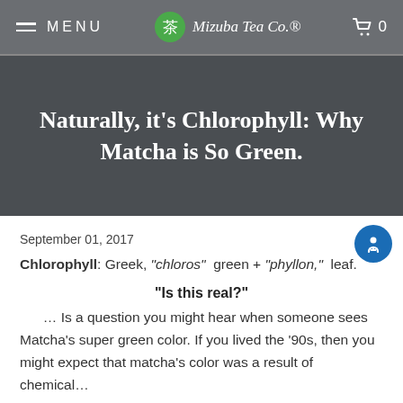MENU | Mizuba Tea Co. | 0
Naturally, it's Chlorophyll: Why Matcha is So Green.
September 01, 2017
Chlorophyll: Greek, "chloros" green + "phyllon," leaf.
"Is this real?"
… Is a question you might hear when someone sees Matcha's super green color. If you lived the '90s, then you might expect that matcha's color was a result of chemical…